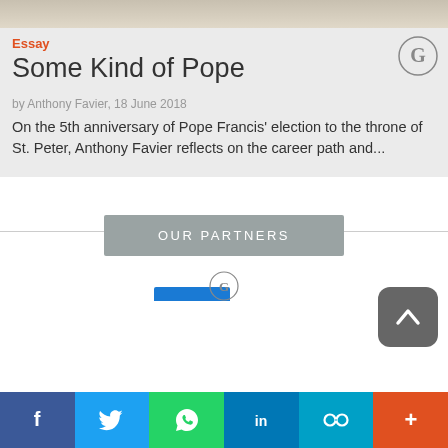[Figure (photo): Partial photo of figure in light-colored clothing at top of card]
Essay
Some Kind of Pope
by Anthony Favier, 18 June 2018
On the 5th anniversary of Pope Francis' election to the throne of St. Peter, Anthony Favier reflects on the career path and...
[Figure (logo): Circular G logo, top right of card]
OUR PARTNERS
[Figure (logo): Circular logo at bottom center, partially visible]
[Figure (infographic): Social share bar with Facebook, Twitter, WhatsApp, LinkedIn, Link, and More buttons]